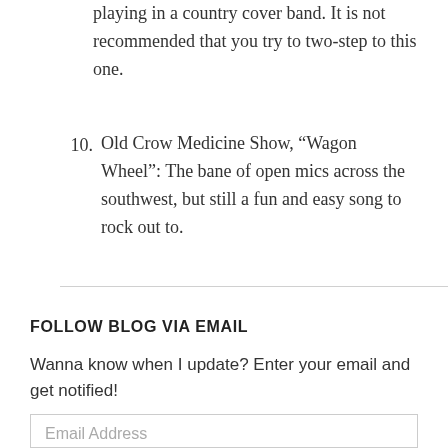playing in a country cover band. It is not recommended that you try to two-step to this one.
10. Old Crow Medicine Show, “Wagon Wheel”: The bane of open mics across the southwest, but still a fun and easy song to rock out to.
FOLLOW BLOG VIA EMAIL
Wanna know when I update? Enter your email and get notified!